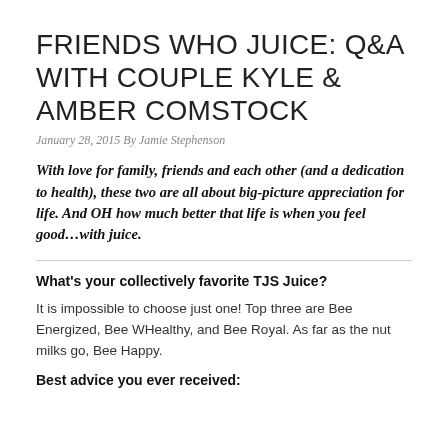FRIENDS WHO JUICE: Q&A WITH COUPLE KYLE & AMBER COMSTOCK
January 28, 2015 By Jamie Stephenson
With love for family, friends and each other (and a dedication to health), these two are all about big-picture appreciation for life. And OH how much better that life is when you feel good…with juice.
What's your collectively favorite TJS Juice?
It is impossible to choose just one! Top three are Bee Energized, Bee WHealthy, and Bee Royal. As far as the nut milks go, Bee Happy.
Best advice you ever received: